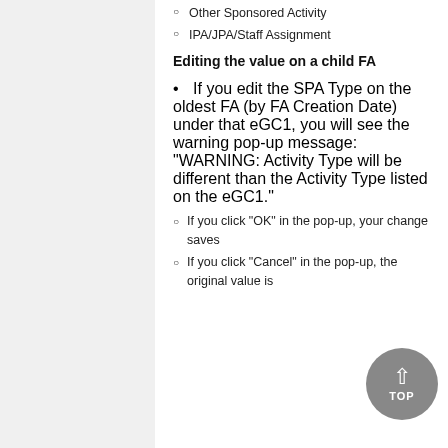Other Sponsored Activity
IPA/JPA/Staff Assignment
Editing the value on a child FA
If you edit the SPA Type on the oldest FA (by FA Creation Date) under that eGC1, you will see the warning pop-up message: “WARNING: Activity Type will be different than the Activity Type listed on the eGC1.”
If you click “OK” in the pop-up, your change saves
If you click “Cancel” in the pop-up, the original value is